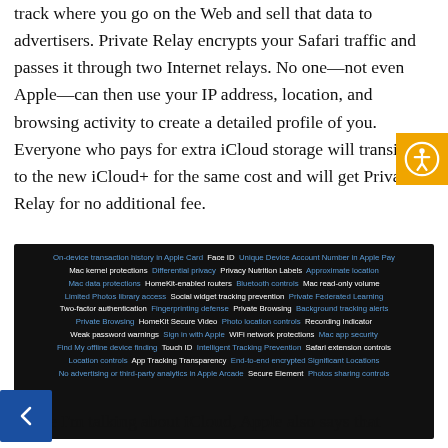track where you go on the Web and sell that data to advertisers. Private Relay encrypts your Safari traffic and passes it through two Internet relays. No one—not even Apple—can then use your IP address, location, and browsing activity to create a detailed profile of you. Everyone who pays for extra iCloud storage will transition to the new iCloud+ for the same cost and will get Private Relay for no additional fee.
[Figure (infographic): Dark background infographic listing Apple privacy features in blue and white text, including: On-device transaction history in Apple Card, Face ID, Unique Device Account Number in Apple Pay, Mac kernel protections, Differential privacy, Privacy Nutrition Labels, Approximate location, Mac data protections, HomeKit-enabled routers, Bluetooth controls, Mac read-only volume, Limited Photos library access, Social widget tracking prevention, Private Federated Learning, Two-factor authentication, Fingerprinting defense, Private Browsing, Background tracking alerts, Private Browsing, HomeKit Secure Video, Photo location controls, Recording indicator, Weak password warnings, Sign in with Apple, WiFi network protections, Mac app security, Find My offline device finding, Touch ID, Intelligent Tracking Prevention, Safari extension controls, Location controls, App Tracking Transparency, End-to-end encrypted Significant Locations, No advertising or third-party analytics in Apple Arcade, Secure Element, Photos sharing controls]
While I'm talking about iCloud, Apple also says that